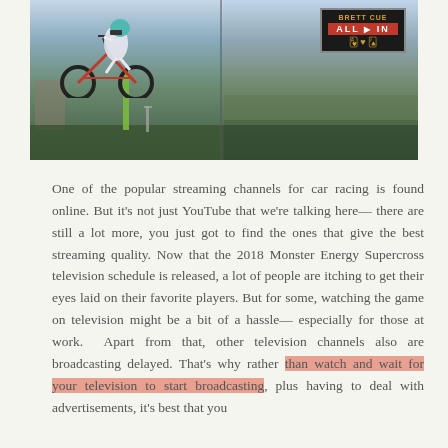[Figure (photo): Motocross rider performing aerial trick on dirt bike against mountain/tree background. Right half shows 'BRETT CUE ALL IN' logo/badge with playing card imagery on dark background.]
One of the popular streaming channels for car racing is found online. But it's not just YouTube that we're talking here— there are still a lot more, you just got to find the ones that give the best streaming quality. Now that the 2018 Monster Energy Supercross television schedule is released, a lot of people are itching to get their eyes laid on their favorite players. But for some, watching the game on television might be a bit of a hassle— especially for those at work.  Apart from that, other television channels also are broadcasting delayed. That's why rather than watch and wait for your television to start broadcasting, plus having to deal with advertisements, it's best that you